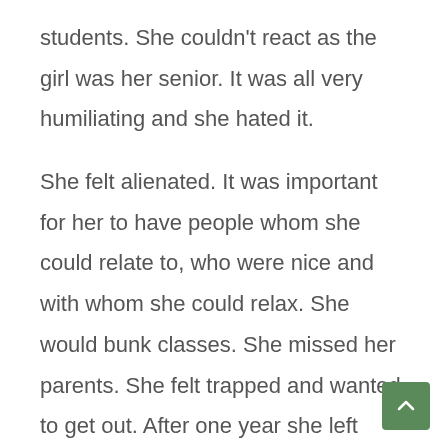students. She couldn't react as the girl was her senior. It was all very humiliating and she hated it.
She felt alienated. It was important for her to have people whom she could relate to, who were nice and with whom she could relax. She would bunk classes. She missed her parents. She felt trapped and wanted to get out. After one year she left Nasik.
She completed her BA in English from